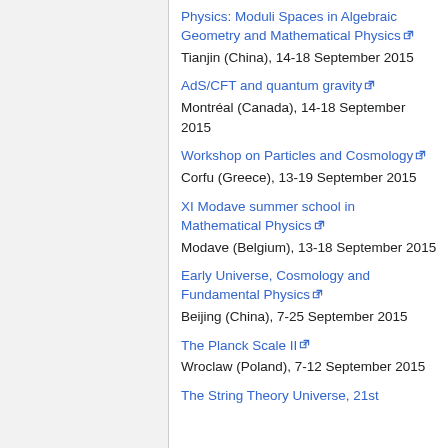Physics: Moduli Spaces in Algebraic Geometry and Mathematical Physics
Tianjin (China), 14-18 September 2015
AdS/CFT and quantum gravity
Montréal (Canada), 14-18 September 2015
Workshop on Particles and Cosmology
Corfu (Greece), 13-19 September 2015
XI Modave summer school in Mathematical Physics
Modave (Belgium), 13-18 September 2015
Early Universe, Cosmology and Fundamental Physics
Beijing (China), 7-25 September 2015
The Planck Scale II
Wroclaw (Poland), 7-12 September 2015
The String Theory Universe, 21st